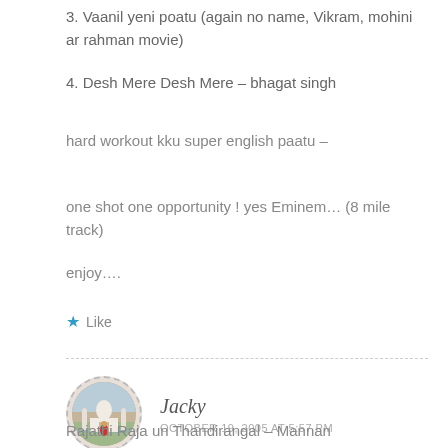3. Vaanil yeni poatu (again no name, Vikram, mohini ar rahman movie)
4. Desh Mere Desh Mere – bhagat singh
hard workout kku super english paatu –
one shot one opportunity ! yes Eminem… (8 mile track)
enjoy….
★ Like
Jacky
OCTOBER 19, 2005 AT 5:57 PM
Rajathi Raja un Thandirangal – Mannan